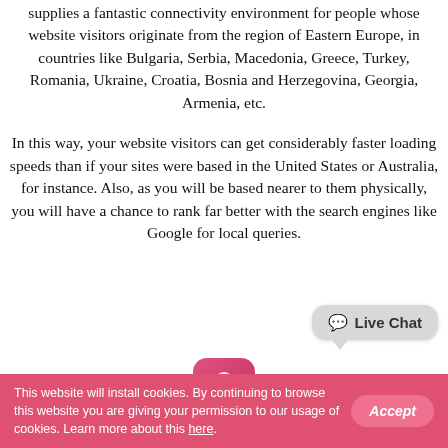supplies a fantastic connectivity environment for people whose website visitors originate from the region of Eastern Europe, in countries like Bulgaria, Serbia, Macedonia, Greece, Turkey, Romania, Ukraine, Croatia, Bosnia and Herzegovina, Georgia, Armenia, etc.
In this way, your website visitors can get considerably faster loading speeds than if your sites were based in the United States or Australia, for instance. Also, as you will be based nearer to them physically, you will have a chance to rank far better with the search engines like Google for local queries.
[Figure (logo): Pink/red rounded square app icon with a white eagle silhouette]
Live Chat (speech bubble UI element)
This website will install cookies. By continuing to browse this website you are giving your permission to our usage of cookies. Learn more about this here.